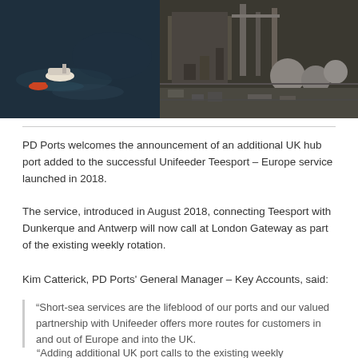[Figure (photo): Aerial view of an industrial port facility with ships on dark water, large industrial structures, tanks, and cranes visible from above]
PD Ports welcomes the announcement of an additional UK hub port added to the successful Unifeeder Teesport – Europe service launched in 2018.
The service, introduced in August 2018, connecting Teesport with Dunkerque and Antwerp will now call at London Gateway as part of the existing weekly rotation.
Kim Catterick, PD Ports' General Manager – Key Accounts, said:
“Short-sea services are the lifeblood of our ports and our valued partnership with Unifeeder offers more routes for customers in and out of Europe and into the UK.
“Adding additional UK port calls to the existing weekly